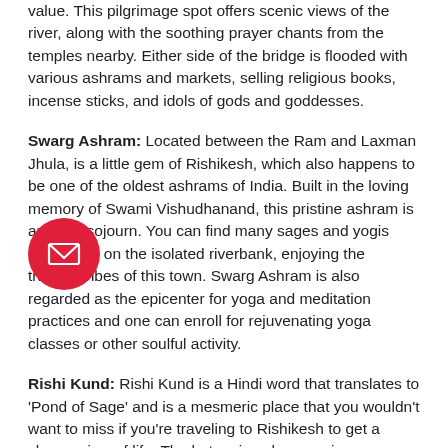value. This pilgrimage spot offers scenic views of the river, along with the soothing prayer chants from the temples nearby. Either side of the bridge is flooded with various ashrams and markets, selling religious books, incense sticks, and idols of gods and goddesses.
Swarg Ashram: Located between the Ram and Laxman Jhula, is a little gem of Rishikesh, which also happens to be one of the oldest ashrams of India. Built in the loving memory of Swami Vishudhanand, this pristine ashram is an ideal sojourn. You can find many sages and yogis meditating on the isolated riverbank, enjoying the tranquil vibes of this town. Swarg Ashram is also regarded as the epicenter for yoga and meditation practices and one can enroll for rejuvenating yoga classes or other soulful activity.
Rishi Kund: Rishi Kund is a Hindi word that translates to 'Pond of Sage' and is a mesmeric place that you wouldn't want to miss if you're traveling to Rishikesh to get a clearer view of life. The hot springs have various mythological references that call thousands of pilgrims every year. Rishi Kund is a part of Raghunath Temple and you can bathe in its holy water to clear your sins and invoke positivity.